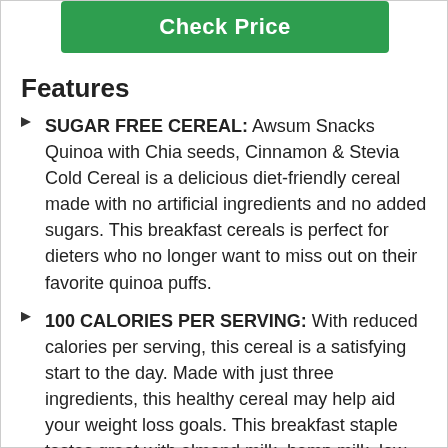[Figure (other): Green 'Check Price' button]
Features
SUGAR FREE CEREAL: Awsum Snacks Quinoa with Chia seeds, Cinnamon & Stevia Cold Cereal is a delicious diet-friendly cereal made with no artificial ingredients and no added sugars. This breakfast cereals is perfect for dieters who no longer want to miss out on their favorite quinoa puffs.
100 CALORIES PER SERVING: With reduced calories per serving, this cereal is a satisfying start to the day. Made with just three ingredients, this healthy cereal may help aid your weight loss goals. This breakfast staple tastes great with almond milk, hemp milk, low fat milk or as an individual!